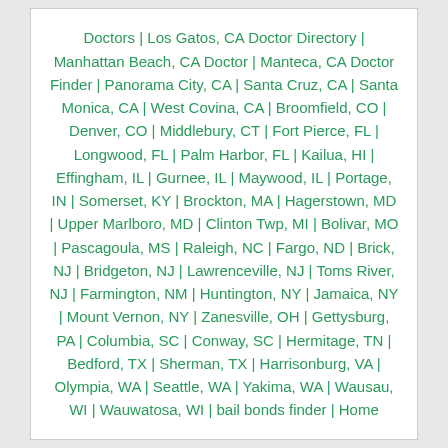Doctors | Los Gatos, CA Doctor Directory | Manhattan Beach, CA Doctor | Manteca, CA Doctor Finder | Panorama City, CA | Santa Cruz, CA | Santa Monica, CA | West Covina, CA | Broomfield, CO | Denver, CO | Middlebury, CT | Fort Pierce, FL | Longwood, FL | Palm Harbor, FL | Kailua, HI | Effingham, IL | Gurnee, IL | Maywood, IL | Portage, IN | Somerset, KY | Brockton, MA | Hagerstown, MD | Upper Marlboro, MD | Clinton Twp, MI | Bolivar, MO | Pascagoula, MS | Raleigh, NC | Fargo, ND | Brick, NJ | Bridgeton, NJ | Lawrenceville, NJ | Toms River, NJ | Farmington, NM | Huntington, NY | Jamaica, NY | Mount Vernon, NY | Zanesville, OH | Gettysburg, PA | Columbia, SC | Conway, SC | Hermitage, TN | Bedford, TX | Sherman, TX | Harrisonburg, VA | Olympia, WA | Seattle, WA | Yakima, WA | Wausau, WI | Wauwatosa, WI | bail bonds finder | Home